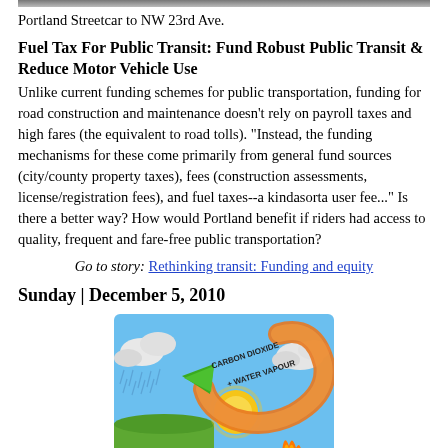[Figure (photo): Top portion of a photo showing Portland Streetcar at NW 23rd Ave, partially cropped at top.]
Portland Streetcar to NW 23rd Ave.
Fuel Tax For Public Transit: Fund Robust Public Transit & Reduce Motor Vehicle Use
Unlike current funding schemes for public transportation, funding for road construction and maintenance doesn't rely on payroll taxes and high fares (the equivalent to road tolls). "Instead, the funding mechanisms for these come primarily from general fund sources (city/county property taxes), fees (construction assessments, license/registration fees), and fuel taxes--a kindasorta user fee..." Is there a better way? How would Portland benefit if riders had access to quality, frequent and fare-free public transportation?
Go to story: Rethinking transit: Funding and equity
Sunday | December 5, 2010
[Figure (illustration): Colorful diagram showing carbon cycle with arrows labeled 'Carbon Dioxide + Water Vapour', featuring blue sky, sun, rain, and fire elements.]